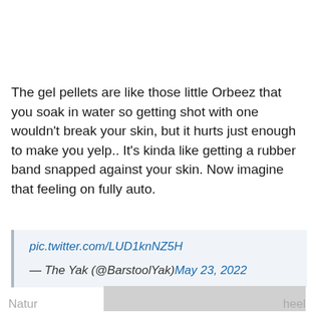The gel pellets are like those little Orbeez that you soak in water so getting shot with one wouldn't break your skin, but it hurts just enough to make you yelp.. It's kinda like getting a rubber band snapped against your skin. Now imagine that feeling on fully auto.
pic.twitter.com/LUD1knNZ5H
— The Yak (@BarstoolYak) May 23, 2022
Natur... heel...